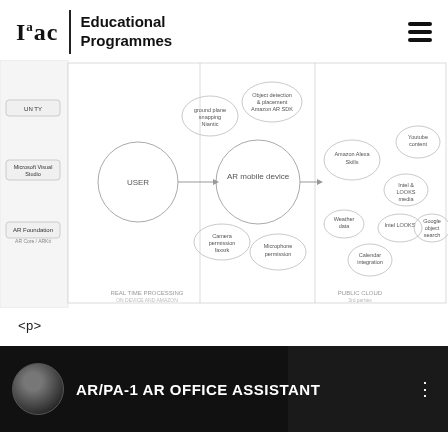Iaac | Educational Programmes
[Figure (flowchart): AR system architecture diagram showing USER connected to AR mobile device, which connects to REAL TIME PROCESSING (including ground plane snapping, object detection & placement, camera AR SDK, microphone permission, camera permission) and PUBLIC CLOUD (including Amazon Alexa Skills, YouTube content, Intel LOOKS, Google object search, weather data, calendar integration) sections. Left sidebar shows Unity, Microsoft Visual Studio, AR Foundation labels.]
<p>
[Figure (screenshot): Video thumbnail showing AR/PA-1 AR OFFICE ASSISTANT with a person in a dark setting and AR overlay content visible.]